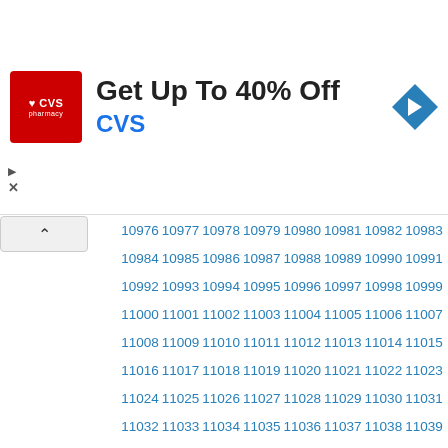[Figure (screenshot): CVS Pharmacy advertisement banner with red logo, 'Get Up To 40% Off' heading, 'CVS' subtitle in blue, and a blue diamond navigation arrow icon on the right]
10976 10977 10978 10979 10980 10981 10982 10983 10984 10985 10986 10987 10988 10989 10990 10991 10992 10993 10994 10995 10996 10997 10998 10999 11000 11001 11002 11003 11004 11005 11006 11007 11008 11009 11010 11011 11012 11013 11014 11015 11016 11017 11018 11019 11020 11021 11022 11023 11024 11025 11026 11027 11028 11029 11030 11031 11032 11033 11034 11035 11036 11037 11038 11039 11040 11041 11042 11043 11044 11045 11046 11047 11048 11049 11050 11051 11052 11053 11054 11055 11056 11057 11058 11059 11060 11061 11062 11063 11064 11065 11066 11067 11068 11069 11070 11071 11072 11073 11074 11075 11076 11077 11078 11079 11080 11081 11082 11083 11084 11085 11086 11087 11088 11089 11090 11091 11092 11093 11094 11095 11096 11097 11098 11099 11100 11101 11102 11103 11104 11105 11106 11107 11108 11109 11110 11111 11112 11113 11114 11115 11116 11117 11118 11119